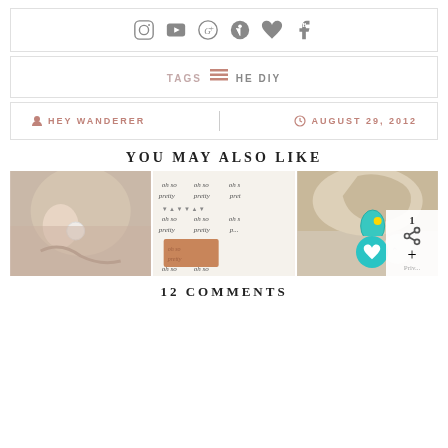[Figure (other): Social media icons bar: Instagram, YouTube, Google+, Pinterest, heart/Bloglovin, BlogFacebook]
TAGS THE DIY
HEY WANDERER | AUGUST 29, 2012
YOU MAY ALSO LIKE
[Figure (photo): Three thumbnail photos: 1) close-up of woman's ear with round white stud earring, 2) script text 'oh so pretty' pattern on paper with a copper earring, 3) woman's ear with teal teardrop earring]
12 COMMENTS